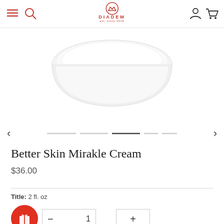[Figure (logo): Diadem brand logo with crown icon and brand name in red]
[Figure (photo): Product image: Better Skin Mirakle Cream jar, white lid visible from above on white background]
Better Skin Mirakle Cream
$36.00
Title: 2 fl. oz